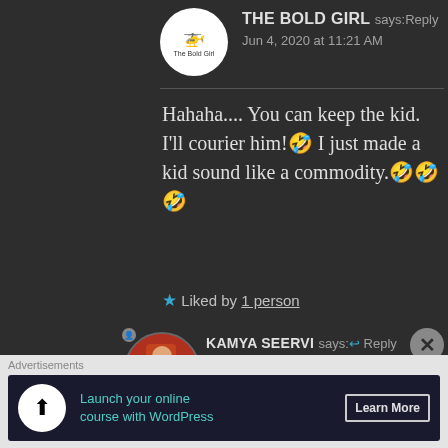[Figure (photo): Avatar for 'The Bold Girl' — white circle with small helicopter icon and text 'The Bold Girl']
THE BOLD GIRL says: Reply
Jun 4, 2020 at 11:21 AM
Hahaha.... You can keep the kid. I'll courier him!🤣 I just made a kid sound like a commodity.🤣🤣🤣
★ Liked by 1 person
[Figure (photo): Avatar for 'Kamya Seervi' — circular photo of a person sitting on orange-red stairs]
KAMYA SEERVI says:↩ Reply
Jun 4, 2020 at 11:59 AM
Courier services don't work
Advertisements
[Figure (infographic): Advertisement banner: dark background with 'Launch your online course with WordPress' in teal text and 'Learn More' button]